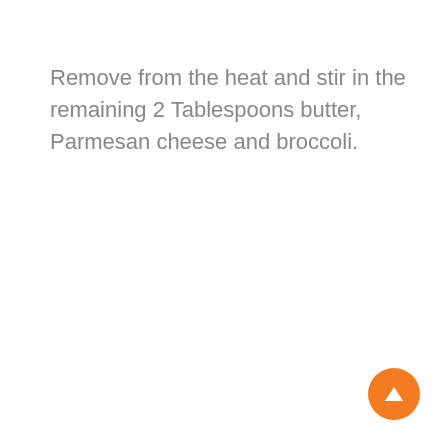Remove from the heat and stir in the remaining 2 Tablespoons butter, Parmesan cheese and broccoli.
[Figure (illustration): Orange circular floating action button with an upward-pointing triangle/arrow icon in the bottom-right corner of the page.]